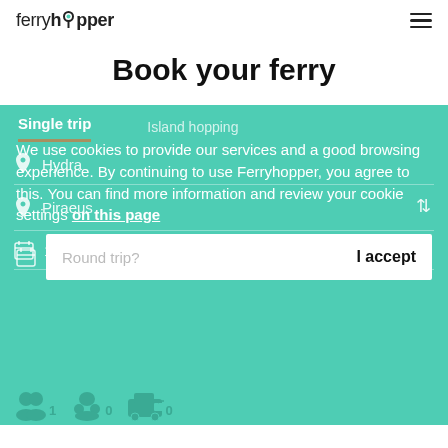ferryhopper
Book your ferry
Single trip
Island hopping
We use cookies to provide our services and a good browsing experience. By continuing to use Ferryhopper, you agree to this. You can find more information and review your cookie settings on this page
Hydra
Piraeus
14th September
Round trip?
I accept
1
0
0